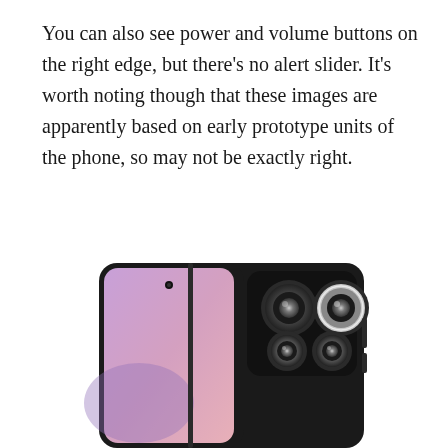You can also see power and volume buttons on the right edge, but there's no alert slider. It's worth noting though that these images are apparently based on early prototype units of the phone, so may not be exactly right.
[Figure (photo): Photo of a smartphone shown from the back, displaying a multi-camera setup with three lenses in a dark rectangular module on the right side, and a purple/pink gradient on the front display visible on the left side. The phone has a dark/black color scheme.]